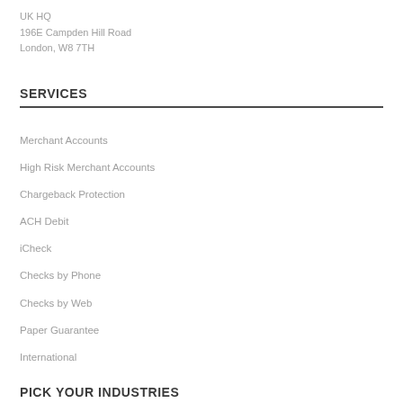UK HQ
196E Campden Hill Road
London, W8 7TH
SERVICES
Merchant Accounts
High Risk Merchant Accounts
Chargeback Protection
ACH Debit
iCheck
Checks by Phone
Checks by Web
Paper Guarantee
International
PICK YOUR INDUSTRIES